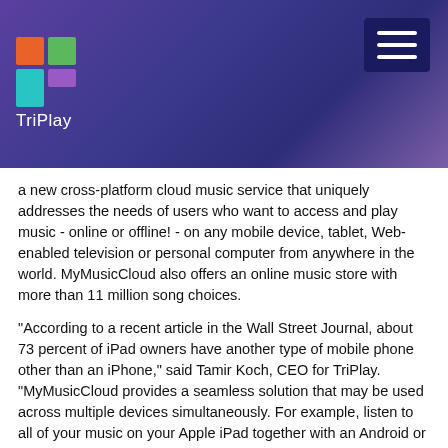[Figure (logo): TriPlay logo with colorful T mark and white text 'TriPlay' on purple/blue gradient header background, with hamburger menu button top right]
a new cross-platform cloud music service that uniquely addresses the needs of users who want to access and play music - online or offline! - on any mobile device, tablet, Web-enabled television or personal computer from anywhere in the world. MyMusicCloud also offers an online music store with more than 11 million song choices.
"According to a recent article in the Wall Street Journal, about 73 percent of iPad owners have another type of mobile phone other than an iPhone," said Tamir Koch, CEO for TriPlay. "MyMusicCloud provides a seamless solution that may be used across multiple devices simultaneously. For example, listen to all of your music on your Apple iPad together with an Android or Blackberry phone."
Key points of differentiation for MyMusicCloud include:
Works with any phone
Truly global